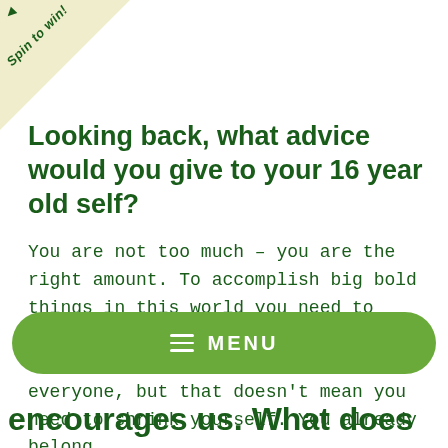[Figure (illustration): Corner banner triangle in light yellow/cream with 'Spin to win!' text rotated diagonally and a small arrow pointer]
Looking back, what advice would you give to your 16 year old self?
You are not too much – you are the right amount. To accomplish big bold things in this world you need to follow your own internal compass. You will not be the right fit for everyone, but that doesn't mean you need to shrink yourself. You already belong.
≡  MENU
encourages us. What does